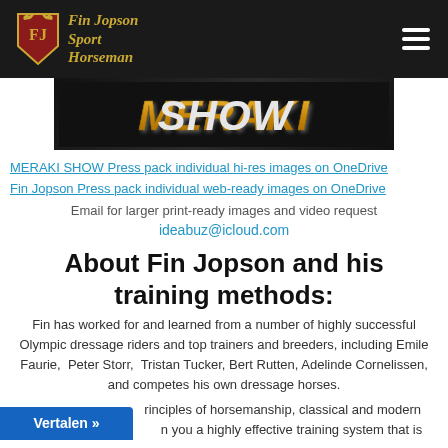Fin Jopson Sport Horseman
[Figure (photo): MERAKI SHOW banner image with large metallic text on dark background]
MERAKI SHOW Press pack individual hi-res images on OneDrive
Fin Jopson Press pack individual web-ready images on OneDrive
Email for larger print-ready images and video request
ideabuz@icloud.com
About Fin Jopson and his training methods:
Fin has worked for and learned from a number of highly successful Olympic dressage riders and top trainers and breeders, including Emile Faurie,  Peter Storr,  Tristan Tucker, Bert Rutten, Adelinde Cornelissen, and competes his own dressage horses.
principles of horsemanship, classical and modern you a highly effective training system that is